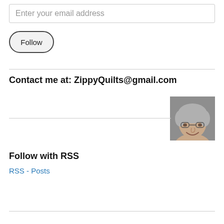Enter your email address
Follow
Contact me at: ZippyQuilts@gmail.com
[Figure (photo): Headshot of a woman with short gray hair and glasses, smiling, wearing a light-colored top, against a gray background.]
Follow with RSS
RSS - Posts